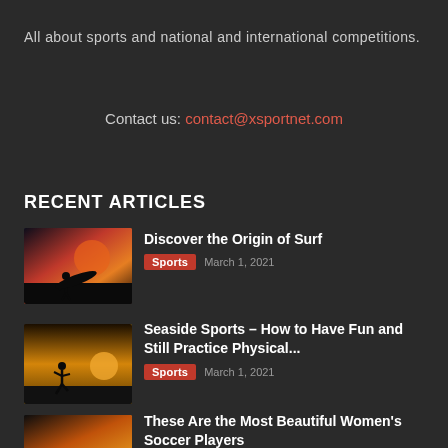All about sports and national and international competitions.
Contact us: contact@xsportnet.com
RECENT ARTICLES
[Figure (photo): Silhouette of a surfer carrying a surfboard at sunset on a beach with orange and red sky]
Discover the Origin of Surf | Sports | March 1, 2021
[Figure (photo): Silhouette of a person running on a beach at golden sunset]
Seaside Sports – How to Have Fun and Still Practice Physical... | Sports | March 1, 2021
[Figure (photo): Outdoor sports scene at sunset, likely soccer or volleyball near the beach]
These Are the Most Beautiful Women's Soccer Players